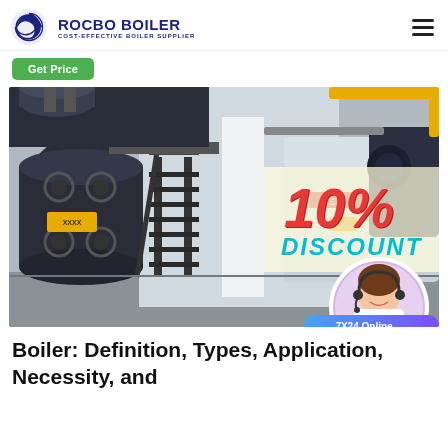ROCBO BOILER — COST-EFFECTIVE BOILER SUPPLIER
[Figure (logo): Rocbo Boiler logo with crescent/globe icon and company name]
Get Price
[Figure (photo): Industrial boiler facility interior showing large boilers, metal staircases, pipes, and machinery. A 10% DISCOUNT badge overlays the right side of the image. A customer service representative (woman with headset) appears in a circular frame at the bottom right.]
Boiler: Definition, Types, Application, Necessity, and